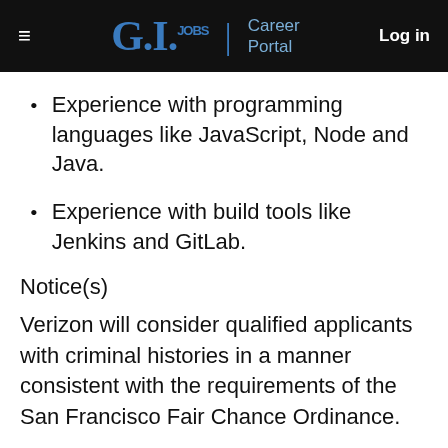G.I. Jobs | Career Portal  Log in
Experience with programming languages like JavaScript, Node and Java.
Experience with build tools like Jenkins and GitLab.
Notice(s)
Verizon will consider qualified applicants with criminal histories in a manner consistent with the requirements of the San Francisco Fair Chance Ordinance.